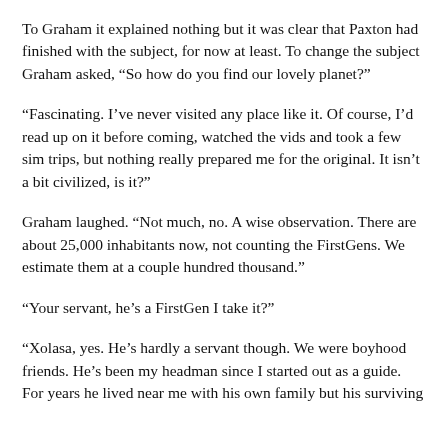To Graham it explained nothing but it was clear that Paxton had finished with the subject, for now at least. To change the subject Graham asked, “So how do you find our lovely planet?”
“Fascinating. I’ve never visited any place like it. Of course, I’d read up on it before coming, watched the vids and took a few sim trips, but nothing really prepared me for the original. It isn’t a bit civilized, is it?”
Graham laughed. “Not much, no. A wise observation. There are about 25,000 inhabitants now, not counting the FirstGens. We estimate them at a couple hundred thousand.”
“Your servant, he’s a FirstGen I take it?”
“Xolasa, yes. He’s hardly a servant though. We were boyhood friends. He’s been my headman since I started out as a guide. For years he lived near me with his own family but his surviving